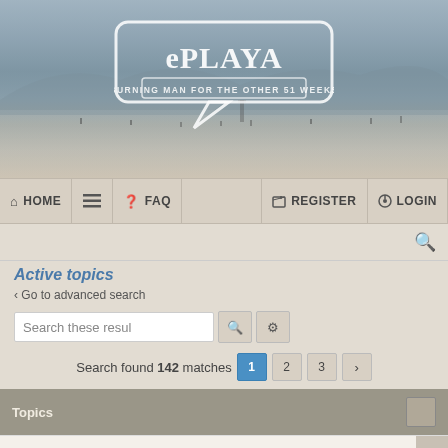[Figure (screenshot): ePlaya website banner with desert/playa landscape background and logo bubble saying 'ePlaya - Burning Man for the other 51 weeks']
HOME  FAQ  REGISTER  LOGIN
Active topics
< Go to advanced search
Search these results
Search found 142 matches  1  2  3  >
Topics
2 Magical Creatures seeking ride from San Diego